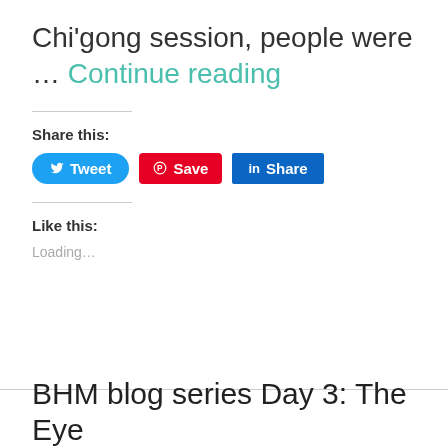Chi'gong session, people were … Continue reading
Share this:
Tweet Save Share
Like this:
Loading…
BHM blog series Day 3: The Eye